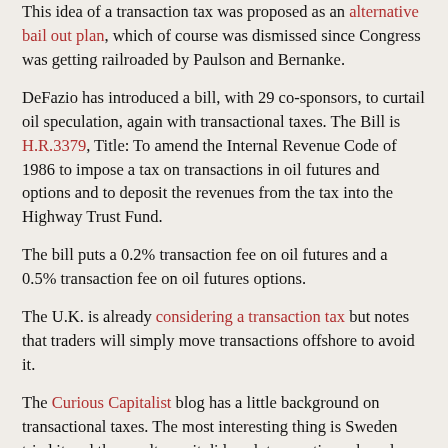This idea of a transaction tax was proposed as an alternative bail out plan, which of course was dismissed since Congress was getting railroaded by Paulson and Bernanke.
DeFazio has introduced a bill, with 29 co-sponsors, to curtail oil speculation, again with transactional taxes. The Bill is H.R.3379, Title: To amend the Internal Revenue Code of 1986 to impose a tax on transactions in oil futures and options and to deposit the revenues from the tax into the Highway Trust Fund.
The bill puts a 0.2% transaction fee on oil futures and a 0.5% transaction fee on oil futures options.
The U.K. is already considering a transaction tax but notes that traders will simply move transactions offshore to avoid it.
The Curious Capitalist blog has a little background on transactional taxes. The most interesting thing is Sweden tried it and the result was it did push transactions abroad.
Myself, I'd like to try it, say in one area, such as DeFazio's oil speculation, an obvious market that affects the entire U.S. national interest and the economy as a whole. Would it work?
Could one try to get such disincentives adopted by the rest of the